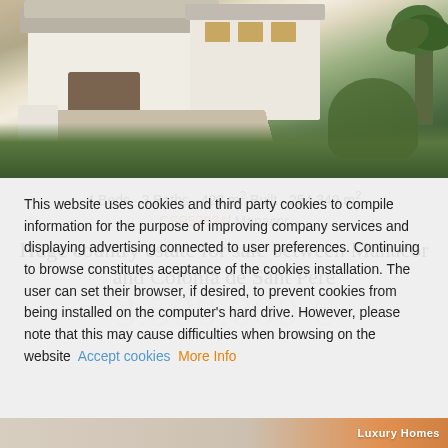[Figure (photo): Aerial/elevated view of a white Mediterranean country estate with tiled roof, garage, cobblestone driveway, surrounded by lush green vegetation and palm trees in Mallorca, Spain.]
4 Beds · 3 Baths · 423 m² Built · 254,349 m²
CSP52824 / Manacor
Huge country estate for sale between Manacor and Colònia de Sant Pere
This website uses cookies and third party cookies to compile information for the purpose of improving company services and displaying advertising connected to user preferences. Continuing to browse constitutes aceptance of the cookies installation. The user can set their browser, if desired, to prevent cookies from being installed on the computer's hard drive. However, please note that this may cause difficulties when browsing on the website  Accept cookies  More Info